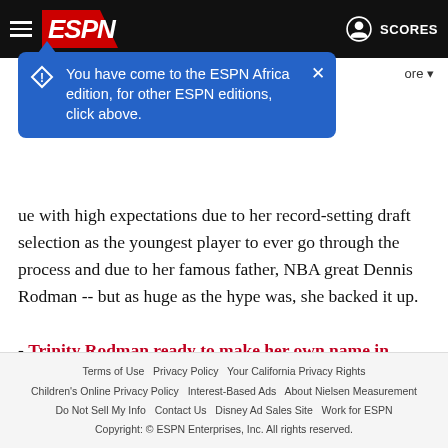ESPN
You have come to the ESPN Africa edition, for other ESPN editions, click above.
ue with high expectations due to her record-setting draft selection as the youngest player to ever go through the process and due to her famous father, NBA great Dennis Rodman -- but as huge as the hype was, she backed it up.
- Trinity Rodman ready to make her own name in soccer
Rodman was named NWSL Rookie of the Year for 2021 and led the Spirit to an NWSL Championship in November. She seems to have a long and bright future ahead of her, and her
Terms of Use  Privacy Policy  Your California Privacy Rights  Children's Online Privacy Policy  Interest-Based Ads  About Nielsen Measurement  Do Not Sell My Info  Contact Us  Disney Ad Sales Site  Work for ESPN  Copyright: © ESPN Enterprises, Inc. All rights reserved.